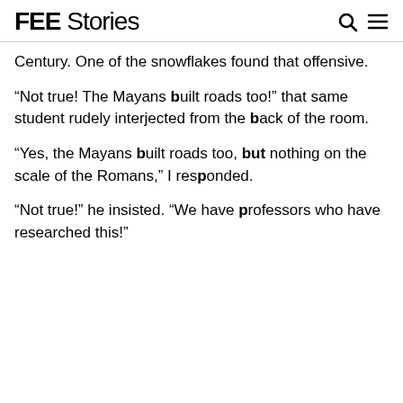FEE Stories
Century. One of the snowflakes found that offensive.
“Not true! The Mayans built roads too!” that same student rudely interjected from the back of the room.
“Yes, the Mayans built roads too, but nothing on the scale of the Romans,” I responded.
“Not true!” he insisted. “We have professors who have researched this!”